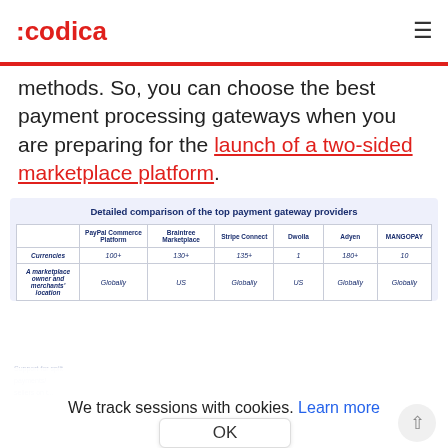:codica
methods. So, you can choose the best payment processing gateways when you are preparing for the launch of a two-sided marketplace platform.
|  | PayPal Commerce Platform | Braintree Marketplace | Stripe Connect | Dwolla | Adyen | MANGOPAY |
| --- | --- | --- | --- | --- | --- | --- |
| Currencies | 100+ | 130+ | 135+ | 1 | 180+ | 10 |
| A marketplace owner and merchants' location | Globally | US | Globally | US | Globally | Globally |
Detailed comparison of the top payment gateway providers
We track sessions with cookies. Learn more
OK